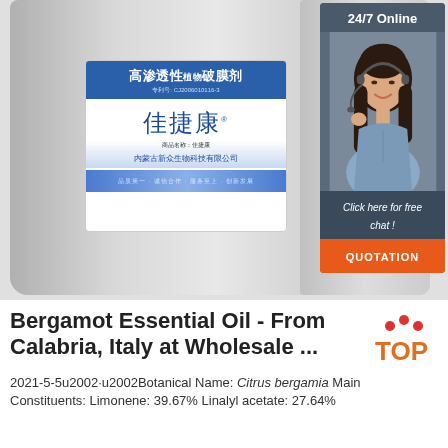[Figure (photo): Two large gray plastic jugs/containers with Chinese product labels (high-permeability plant growth agent 佳捷康, Inner Mongolia company). An overlay chat widget in the top-right corner shows '24/7 Online', a female customer service representative with headset, 'Click here for free chat!', and an orange QUOTATION button.]
Bergamot Essential Oil - From Calabria, Italy at Wholesale ...
2021-5-5u2002·u2002Botanical Name: Citrus bergamia Main Constituents: Limonene: 39.67% Linalyl acetate: 27.64%